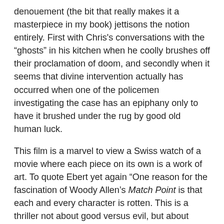denouement (the bit that really makes it a masterpiece in my book) jettisons the notion entirely. First with Chris's conversations with the “ghosts” in his kitchen when he coolly brushes off their proclamation of doom, and secondly when it seems that divine intervention actually has occurred when one of the policemen investigating the case has an epiphany only to have it brushed under the rug by good old human luck.
This film is a marvel to view a Swiss watch of a movie where each piece on its own is a work of art. To quote Ebert yet again “One reason for the fascination of Woody Allen’s Match Point is that each and every character is rotten. This is a thriller not about good versus evil, but about various species of evil engaged in a struggle for survival of the fittest… Even sweet little Chloe basically has her Father buy Chris for her.”
Allen’s eye for casting has always been one of his most underrated attributes as a director, and Match Point is one of his best cast films. Not just Rhys, and Allen’s muse of the week Johanson, whose languid sensuality has never been